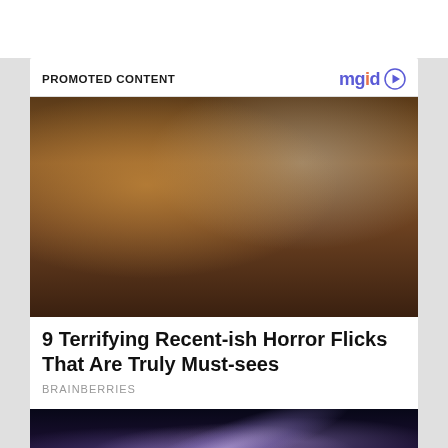PROMOTED CONTENT
[Figure (logo): mgid logo with play button icon]
[Figure (photo): A woman with long gray-blonde hair looking at camera in a horror movie scene; another figure in background holding up a red mask]
9 Terrifying Recent-ish Horror Flicks That Are Truly Must-sees
BRAINBERRIES
[Figure (photo): Galaxy or nebula space image with purple and blue tones]